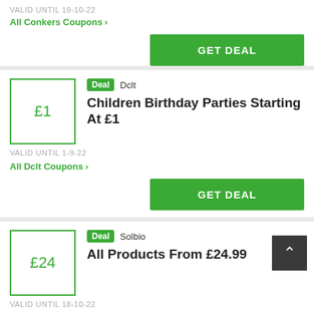VALID UNTIL 19-10-22
All Conkers Coupons >
GET DEAL
Deal  Dclt
Children Birthday Parties Starting At £1
VALID UNTIL 1-9-22
All Dclt Coupons >
GET DEAL
Deal  Solbio
All Products From £24.99
VALID UNTIL 18-10-22